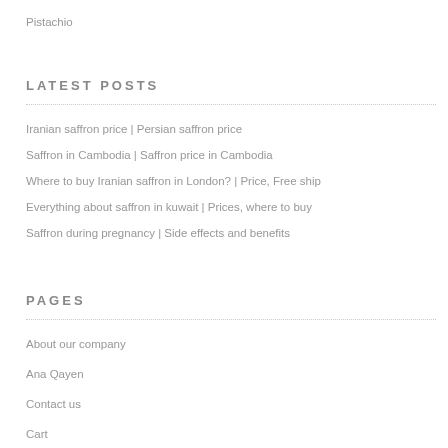Pistachio
LATEST POSTS
Iranian saffron price | Persian saffron price
Saffron in Cambodia | Saffron price in Cambodia
Where to buy Iranian saffron in London? | Price, Free ship
Everything about saffron in kuwait | Prices, where to buy
Saffron during pregnancy | Side effects and benefits
PAGES
About our company
Ana Qayen
Contact us
Cart
Checkout